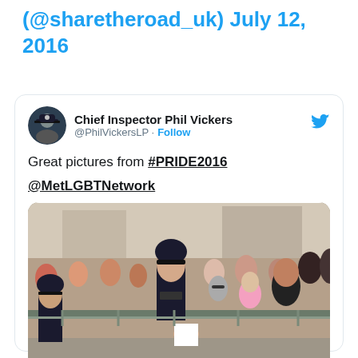(@sharetheroad_uk) July 12, 2016
[Figure (screenshot): Embedded tweet from Chief Inspector Phil Vickers (@PhilVickersLP) with a Follow button and Twitter bird icon. Tweet text reads: 'Great pictures from #PRIDE2016 @MetLGBTNetwork' followed by a photo of police officers at Pride 2016, interacting with a crowd behind barriers on a London street.]